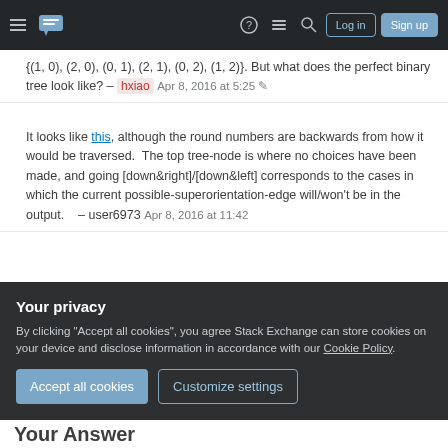Stack Exchange navigation bar with hamburger menu, logo, help, chat, search icons, Log in and Sign up buttons
{(1, 0), (2, 0), (0, 1), (2, 1), (0, 2), (1, 2)}. But what does the perfect binary tree look like? – hxiao Apr 8, 2016 at 5:25
It looks like this, although the round numbers are backwards from how it would be traversed. The top tree-node is where no choices have been made, and going [down&right]/[down&left] corresponds to the cases in which the current possible-superorientation-edge will/won't be in the output. – user6973 Apr 8, 2016 at 11:42
Yes. Now I'm aware how the binary tree looks like exactly. But I still didn't get how to perform DFS search
Your privacy
By clicking "Accept all cookies", you agree Stack Exchange can store cookies on your device and disclose information in accordance with our Cookie Policy.
Accept all cookies   Customize settings
Your Answer